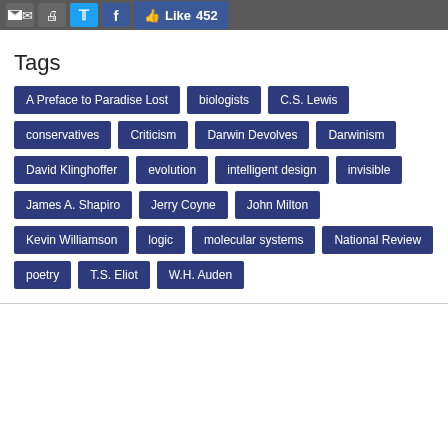Email | Print | Twitter | Facebook | Like 452
Tags
A Preface to Paradise Lost
biologists
C.S. Lewis
conservatives
Criticism
Darwin Devolves
Darwinism
David Klinghoffer
evolution
intelligent design
invisible
James A. Shapiro
Jerry Coyne
John Milton
Kevin Williamson
logic
molecular systems
National Review
poetry
T.S. Eliot
W.H. Auden